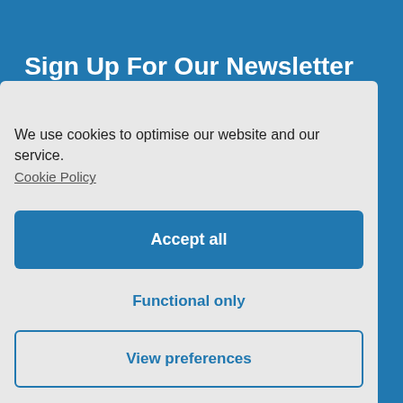Sign Up For Our Newsletter
We use cookies to optimise our website and our service.
Cookie Policy
Accept all
Functional only
View preferences